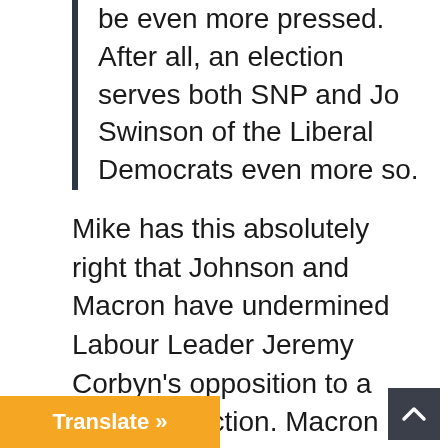The Liberal Democrats and SNP will be even more pressed. After all, an election serves both SNP and Jo Swinson of the Liberal Democrats even more so.
Mike has this absolutely right that Johnson and Macron have undermined Labour Leader Jeremy Corbyn's opposition to a general election. Macron is playing hard ball to get this treaty done and dusted, as the Brits would say, so he can move on political integration